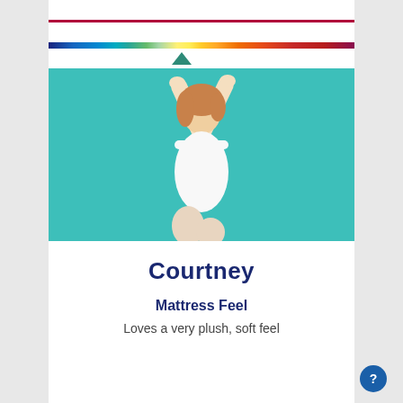[Figure (infographic): Horizontal gradient spectrum bar ranging from dark blue on the left through teal, green, yellow, orange to red/maroon on the right, with a teal triangle pointer below it indicating a position on the scale]
[Figure (photo): Woman in white athletic outfit with arms raised overhead doing a yoga stretch pose against a teal background]
Courtney
Mattress Feel
Loves a very plush, soft feel